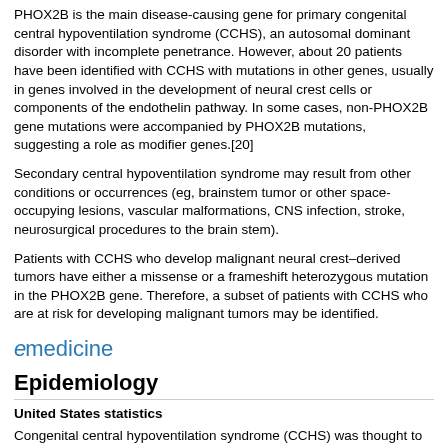PHOX2B is the main disease-causing gene for primary congenital central hypoventilation syndrome (CCHS), an autosomal dominant disorder with incomplete penetrance. However, about 20 patients have been identified with CCHS with mutations in other genes, usually in genes involved in the development of neural crest cells or components of the endothelin pathway. In some cases, non-PHOX2B gene mutations were accompanied by PHOX2B mutations, suggesting a role as modifier genes.[20]
Secondary central hypoventilation syndrome may result from other conditions or occurrences (eg, brainstem tumor or other space-occupying lesions, vascular malformations, CNS infection, stroke, neurosurgical procedures to the brain stem).
Patients with CCHS who develop malignant neural crest–derived tumors have either a missense or a frameshift heterozygous mutation in the PHOX2B gene. Therefore, a subset of patients with CCHS who are at risk for developing malignant tumors may be identified.
[Figure (logo): eMedicine logo with stylized italic e in blue followed by 'medicine' in blue text]
Epidemiology
United States statistics
Congenital central hypoventilation syndrome (CCHS) was thought to be a very rare disorder with an estimated prevalence of 1 case per 200,000 live births.[21] However, the introduction of more extensive screening measures for detection of PHOX2B mutations has revealed that CCHS is not as rare as previously considered.